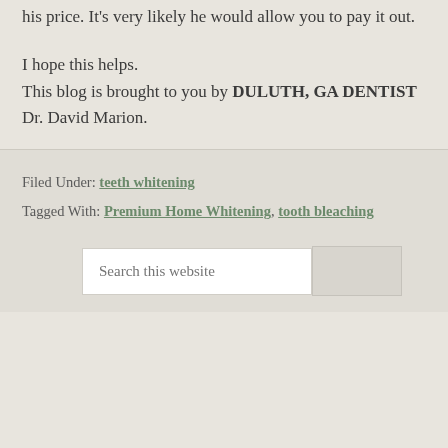his price. It's very likely he would allow you to pay it out.
I hope this helps.
This blog is brought to you by DULUTH, GA DENTIST Dr. David Marion.
Filed Under: teeth whitening
Tagged With: Premium Home Whitening, tooth bleaching